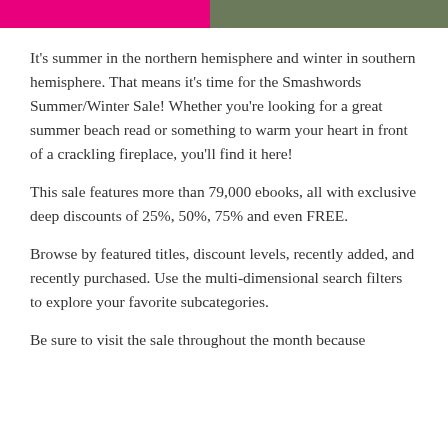[Figure (photo): Two images side by side at the top: left image with pink/magenta background (partial text visible), right image showing an outdoor winter/summer scene]
It's summer in the northern hemisphere and winter in southern hemisphere. That means it's time for the Smashwords Summer/Winter Sale! Whether you're looking for a great summer beach read or something to warm your heart in front of a crackling fireplace, you'll find it here!
This sale features more than 79,000 ebooks, all with exclusive deep discounts of 25%, 50%, 75% and even FREE.
Browse by featured titles, discount levels, recently added, and recently purchased. Use the multi-dimensional search filters to explore your favorite subcategories.
Be sure to visit the sale throughout the month because